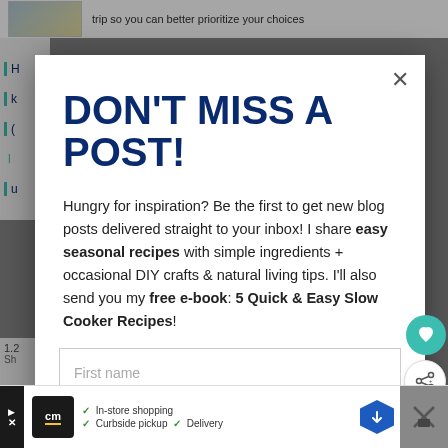trip so you can better prioritize your choices
DON'T MISS A POST!
Hungry for inspiration? Be the first to get new blog posts delivered straight to your inbox! I share easy seasonal recipes with simple ingredients + occasional DIY crafts & natural living tips. I'll also send you my free e-book: 5 Quick & Easy Slow Cooker Recipes!
First name
WHAT'S NEXT → Homemade Maple Almo...